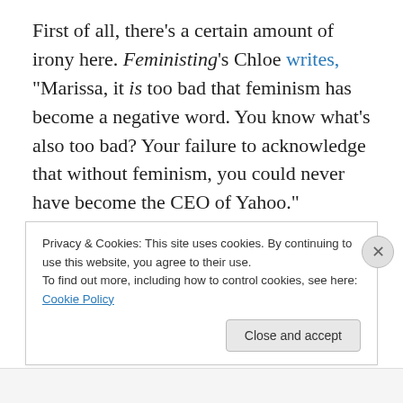First of all, there's a certain amount of irony here. Feministing's Chloe writes, "Marissa, it is too bad that feminism has become a negative word. You know what's also too bad? Your failure to acknowledge that without feminism, you could never have become the CEO of Yahoo."
Second, what Mayer said that she believes is exactly what feminism is. Feminism is the idea that women and men should have equal rights, and that women and men are essentially capable of the same things, despite the
Privacy & Cookies: This site uses cookies. By continuing to use this website, you agree to their use.
To find out more, including how to control cookies, see here: Cookie Policy